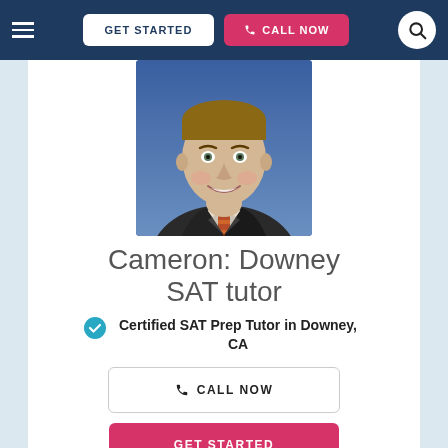[Figure (screenshot): Website navigation bar with hamburger menu, GET STARTED button, CALL NOW button in pink, and search circle icon on dark navy background]
[Figure (photo): Professional headshot of a smiling young man in a dark suit with a red striped tie against a blue background]
Cameron: Downey SAT tutor
Certified SAT Prep Tutor in Downey, CA
CALL NOW
GET STARTED